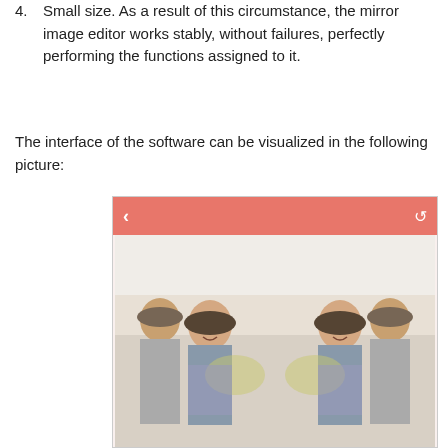4. Small size. As a result of this circumstance, the mirror image editor works stably, without failures, perfectly performing the functions assigned to it.
The interface of the software can be visualized in the following picture:
[Figure (screenshot): Screenshot of a mirror image editor app showing a salmon/coral colored toolbar with a back arrow on the left and a share icon on the right, below which is a photo of a couple mirrored horizontally — two instances of a young man and woman facing each other, both smiling.]